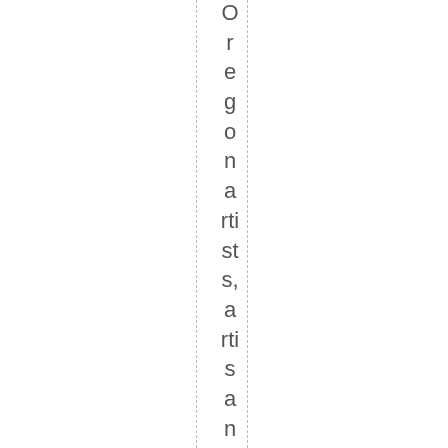Oregon artists, artisans and those wh